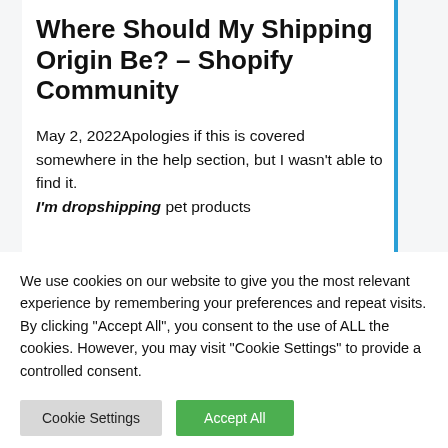Where Should My Shipping Origin Be? – Shopify Community
May 2, 2022Apologies if this is covered somewhere in the help section, but I wasn't able to find it. I'm dropshipping pet products
We use cookies on our website to give you the most relevant experience by remembering your preferences and repeat visits. By clicking "Accept All", you consent to the use of ALL the cookies. However, you may visit "Cookie Settings" to provide a controlled consent.